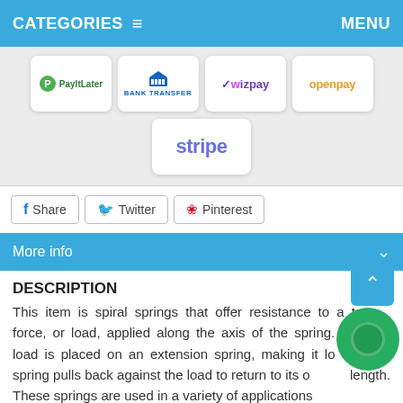CATEGORIES ≡   MENU
[Figure (logo): Payment method logos: PayItLater, Bank Transfer, Wizpay, Openpay, Stripe]
Share   Twitter   Pinterest
More info
DESCRIPTION
This item is spiral springs that offer resistance to a tensile force, or load, applied along the axis of the spring. When a load is placed on an extension spring, making it longer, the spring pulls back against the load to return to its original length. These springs are used in a variety of applications